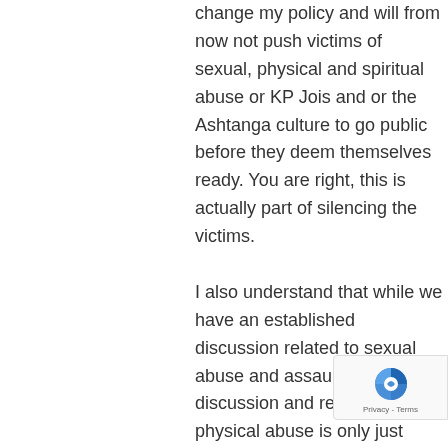change my policy and will from now not push victims of sexual, physical and spiritual abuse or KP Jois and or the Ashtanga culture to go public before they deem themselves ready. You are right, this is actually part of silencing the victims.
I also understand that while we have an established discussion related to sexual abuse and assault, the discussion and revelation of physical abuse is only just starting.
So again my apology for being pushy and my gratitude that yo...